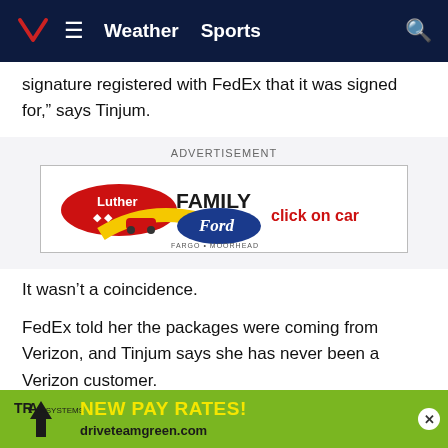Weather  Sports
signature registered with FedEx that it was signed for," says Tinjum.
[Figure (other): Advertisement banner for Luther Family Ford, Fargo/Moorhead, with text 'click on car']
It wasn't a coincidence.
FedEx told her the packages were coming from Verizon, and Tinjum says she has never been a Verizon customer.
“Contacted FedEx, contacted Verizon, and realized it was all in a 24 hour time frame. It started at 4:30 am last Monday
[Figure (other): Bottom banner advertisement for TrAnswers Systems, showing 'NEW PAY RATES! driveteamgreen.com']